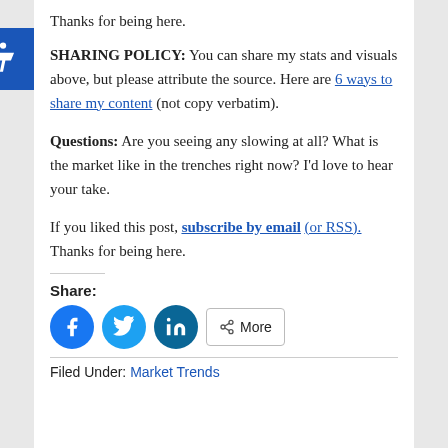Thanks for being here.
SHARING POLICY: You can share my stats and visuals above, but please attribute the source. Here are 6 ways to share my content (not copy verbatim).
Questions: Are you seeing any slowing at all? What is the market like in the trenches right now? I'd love to hear your take.
If you liked this post, subscribe by email (or RSS). Thanks for being here.
Share:
[Figure (other): Social share buttons: Facebook (blue circle), Twitter (light blue circle), LinkedIn (dark blue circle), and a More button]
Filed Under: Market Trends